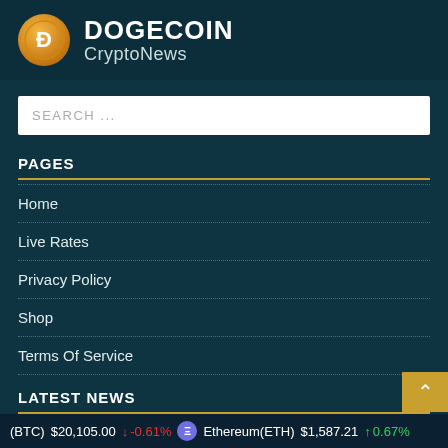[Figure (logo): Dogecoin CryptoNews logo with orange circle D icon and white text]
SEARCH ...
PAGES
Home
Live Rates
Privacy Policy
Shop
Terms Of Service
LATEST NEWS
(BTC) $20,105.00 ↓ -0.61%  Ethereum(ETH) $1,587.21 ↑ 0.67%